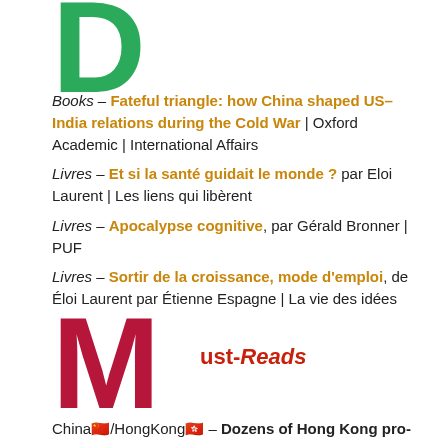D
Books – Fateful triangle: how China shaped US–India relations during the Cold War | Oxford Academic | International Affairs
Livres – Et si la santé guidait le monde ? par Eloi Laurent | Les liens qui libèrent
Livres – Apocalypse cognitive, par Gérald Bronner | PUF
Livres – Sortir de la croissance, mode d'emploi, de Éloi Laurent par Étienne Espagne | La vie des idées
M
ust-Reads
China🇨🇳/HongKong🇭🇰 – Dozens of Hong Kong pro-